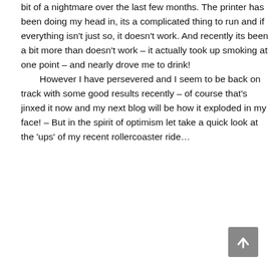bit of a nightmare over the last few months. The printer has been doing my head in, its a complicated thing to run and if everything isn't just so, it doesn't work. And recently its been a bit more than doesn't work – it actually took up smoking at one point – and nearly drove me to drink!

However I have persevered and I seem to be back on track with some good results recently – of course that's jinxed it now and my next blog will be how it exploded in my face! – But in the spirit of optimism let take a quick look at the 'ups' of my recent rollercoaster ride…